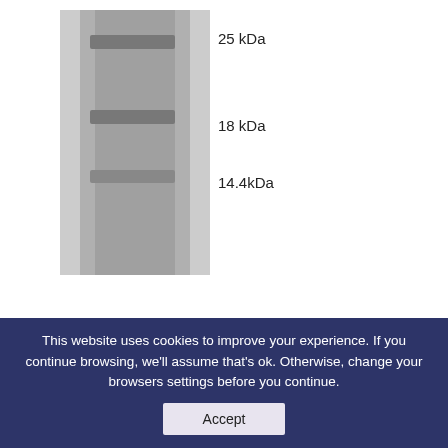[Figure (other): SDS-PAGE gel image showing protein bands at 25 kDa, 18 kDa, and 14.4 kDa molecular weight markers]
[Figure (logo): enQuire BioReagents logo with tagline 'All Great Science Starts With A Question']
Recombinant S. cerevisiae Cystathionine beta-synthase Protein
This website uses cookies to improve your experience. If you continue browsing, we'll assume that's ok. Otherwise, change your browsers settings before you continue.